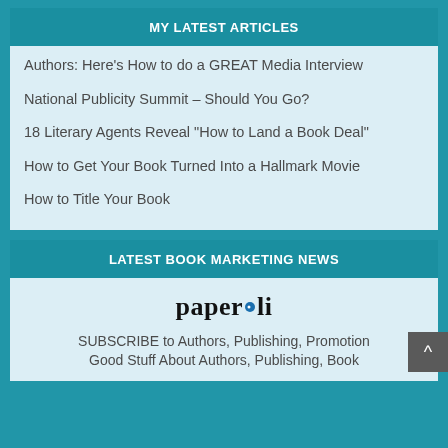MY LATEST ARTICLES
Authors: Here’s How to do a GREAT Media Interview
National Publicity Summit – Should You Go?
18 Literary Agents Reveal “How to Land a Book Deal”
How to Get Your Book Turned Into a Hallmark Movie
How to Title Your Book
LATEST BOOK MARKETING NEWS
[Figure (logo): paper.li logo in bold serif font with a blue dot between paper and li]
SUBSCRIBE to Authors, Publishing, Promotion Good Stuff About Authors, Publishing, Book